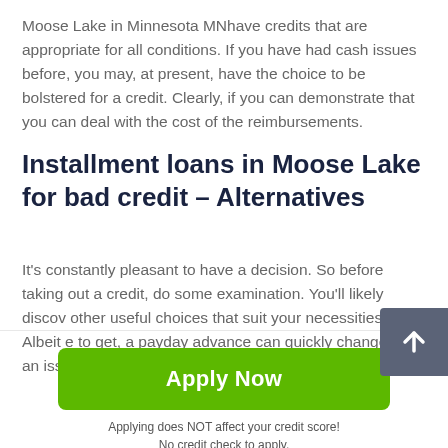Moose Lake in Minnesota MNhave credits that are appropriate for all conditions. If you have had cash issues before, you may, at present, have the choice to be bolstered for a credit. Clearly, if you can demonstrate that you can deal with the cost of the reimbursements.
Installment loans in Moose Lake for bad credit – Alternatives
It's constantly pleasant to have a decision. So before taking out a credit, do some examination. You'll likely discov other useful choices that suit your necessities. Albeit e to get, a payday advance can quickly change into an issue
[Figure (other): Scroll-to-top button with upward arrow icon on dark gray background]
[Figure (other): Green Apply Now button]
Applying does NOT affect your credit score!
No credit check to apply.